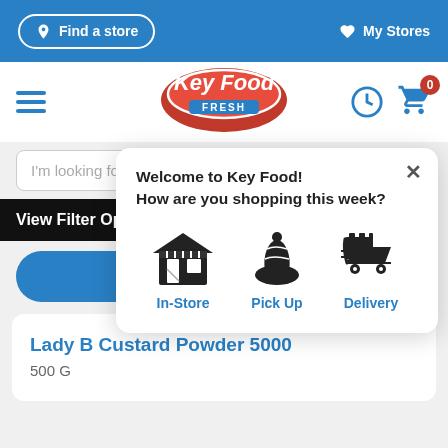Find a store  My Stores
[Figure (screenshot): Key Food Fresh logo - red oval with white text]
I'm looking for
View Filter Options +
[Figure (infographic): Popup dialog: Welcome to Key Food! How are you shopping this week? with three options: In-Store, Pick Up, Delivery]
View Price
Lady B Custard Powder 5000
500 G